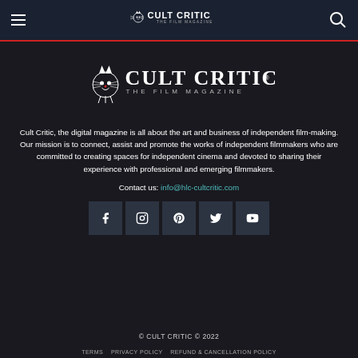Cult Critic – The Film Magazine navigation bar
[Figure (logo): Cult Critic The Film Magazine logo with cat mascot, white text on dark background]
Cult Critic, the digital magazine is all about the art and business of independent film-making. Our mission is to connect, assist and promote the works of independent filmmakers who are committed to creating spaces for independent cinema and devoted to sharing their experience with professional and emerging filmmakers.
Contact us: info@hlc-cultcritic.com
[Figure (infographic): Social media icons row: Facebook, Instagram, Pinterest, Twitter, YouTube]
© CULT CRITIC © 2022
TERMS   PRIVACY POLICY   REFUND & CANCELLATION POLICY